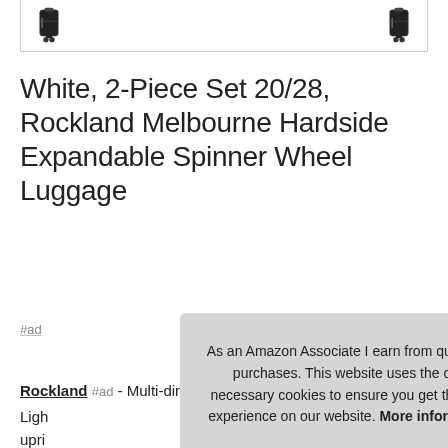[Figure (photo): Partial view of luggage product images (two suitcases partially visible at top)]
White, 2-Piece Set 20/28, Rockland Melbourne Hardside Expandable Spinner Wheel Luggage
#ad
Rockland #ad - Multi-directional double spinner wheels. Ligh... upri... tele...
As an Amazon Associate I earn from qualifying purchases. This website uses the only necessary cookies to ensure you get the best experience on our website. More information